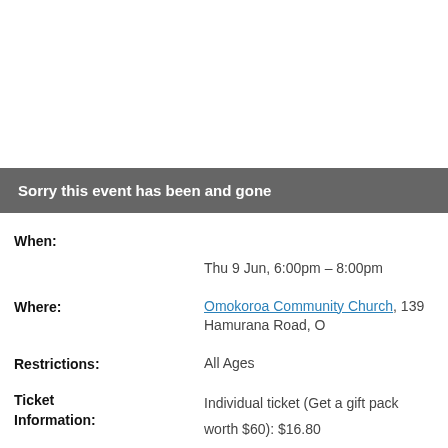Sorry this event has been and gone
When:
Thu 9 Jun, 6:00pm – 8:00pm
Where: Omokoroa Community Church, 139 Hamurana Road, O
Restrictions: All Ages
Ticket Information: Individual ticket (Get a gift pack worth $60): $16.80
Couples ticket (Get a gift pack worth $60): $16.80